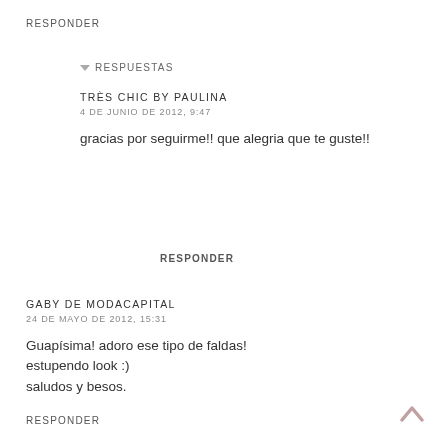RESPONDER
▼ RESPUESTAS
TRÈS CHIC BY PAULINA
4 DE JUNIO DE 2012, 9:47
gracias por seguirme!! que alegria que te guste!!
RESPONDER
GABY DE MODACAPITAL
24 DE MAYO DE 2012, 15:31
Guapísima! adoro ese tipo de faldas!
estupendo look :)
saludos y besos.
RESPONDER